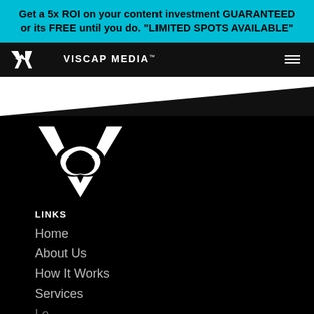Get a 5x ROI on your content investment GUARANTEED or its FREE until you do. "LIMITED SPOTS AVAILABLE"
[Figure (logo): Viscap Media logo with stylized VC monogram in white on dark navbar, with hamburger menu icon]
[Figure (logo): Large Viscap Media VC monogram logo in white on black background]
LINKS
Home
About Us
How It Works
Services